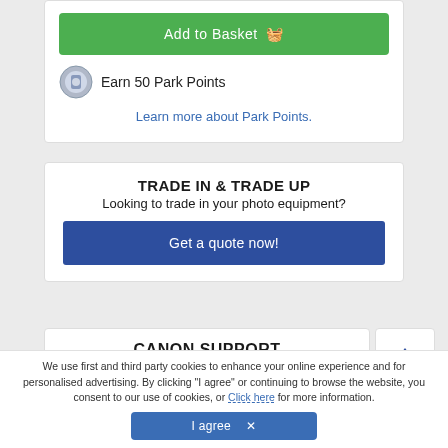Add to Basket
Earn 50 Park Points
Learn more about Park Points.
TRADE IN & TRADE UP
Looking to trade in your photo equipment?
Get a quote now!
CANON SUPPORT
We use first and third party cookies to enhance your online experience and for personalised advertising. By clicking “I agree” or continuing to browse the website, you consent to our use of cookies, or Click here for more information.
I agree ×